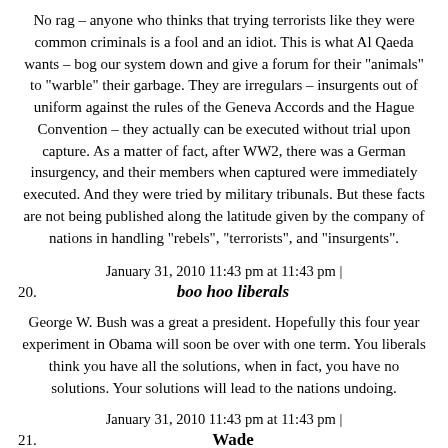No rag – anyone who thinks that trying terrorists like they were common criminals is a fool and an idiot. This is what Al Qaeda wants – bog our system down and give a forum for their "animals" to "warble" their garbage. They are irregulars – insurgents out of uniform against the rules of the Geneva Accords and the Hague Convention – they actually can be executed without trial upon capture. As a matter of fact, after WW2, there was a German insurgency, and their members when captured were immediately executed. And they were tried by military tribunals. But these facts are not being published along the latitude given by the company of nations in handling "rebels", "terrorists", and "insurgents".
January 31, 2010 11:43 pm at 11:43 pm |
20.	boo hoo liberals
George W. Bush was a great a president. Hopefully this four year experiment in Obama will soon be over with one term. You liberals think you have all the solutions, when in fact, you have no solutions. Your solutions will lead to the nations undoing.
January 31, 2010 11:43 pm at 11:43 pm |
21.	Wade
As I mentioned in the news, what first strikes the 9/11...